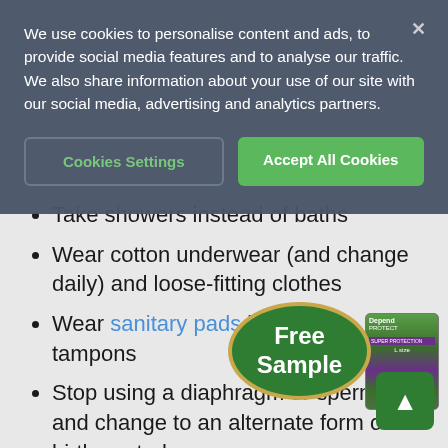We use cookies to personalise content and ads, to provide social media features and to analyse our traffic. We also share information about your use of our site with our social media, advertising and analytics partners.
Take showers instead of baths
Wear cotton underwear (and change daily) and loose-fitting clothes
Wear sanitary pads instead of tampons
Stop using a diaphragm or spermicide and change to an alternate form of birth control
Use nonspermicidal lubricated condoms instead of using spermicidal lubricated condoms
[Figure (photo): Depend product packaging and Free Sample oval badge overlay, with a green up-arrow button in the bottom right]